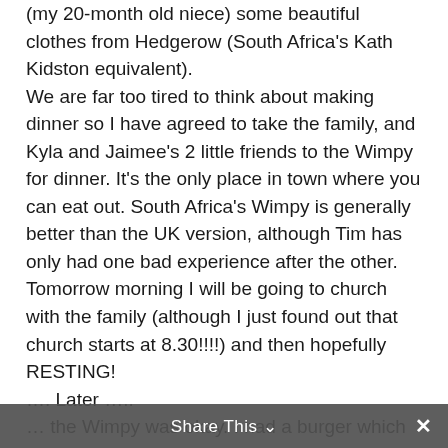(my 20-month old niece) some beautiful clothes from Hedgerow (South Africa's Kath Kidston equivalent). We are far too tired to think about making dinner so I have agreed to take the family, and Kyla and Jaimee's 2 little friends to the Wimpy for dinner. It's the only place in town where you can eat out. South Africa's Wimpy is generally better than the UK version, although Tim has only had one bad experience after the other. Tomorrow morning I will be going to church with the family (although I just found out that church starts at 8.30!!!!) and then hopefully RESTING! …. Later ….. … the Wimpy was okay. I had a burger which was nice, but Andy had a bad chicken. But apparently that doesn't really happen at this Wimpy. So perhaps I am just the Wimpy bad luck carrier!
Share This ∨ ×